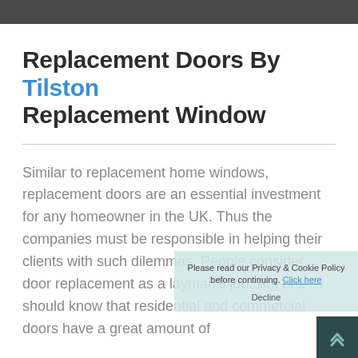Replacement Doors By Tilston Replacement Window
Similar to replacement home windows, replacement doors are an essential investment for any homeowner in the UK. Thus the companies must be responsible in helping their clients with such dilemmas. People consider door replacement as a layman's job. But one should know that residential and commercial doors have a great amount of